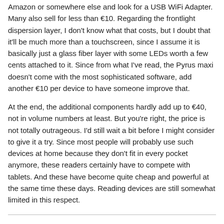Amazon or somewhere else and look for a USB WiFi Adapter. Many also sell for less than €10. Regarding the frontlight dispersion layer, I don't know what that costs, but I doubt that it'll be much more than a touchscreen, since I assume it is basically just a glass fiber layer with some LEDs worth a few cents attached to it. Since from what I've read, the Pyrus maxi doesn't come with the most sophisticated software, add another €10 per device to have someone improve that.
At the end, the additional components hardly add up to €40, not in volume numbers at least. But you're right, the price is not totally outrageous. I'd still wait a bit before I might consider to give it a try. Since most people will probably use such devices at home because they don't fit in every pocket anymore, these readers certainly have to compete with tablets. And these have become quite cheap and powerful at the same time these days. Reading devices are still somewhat limited in this respect.